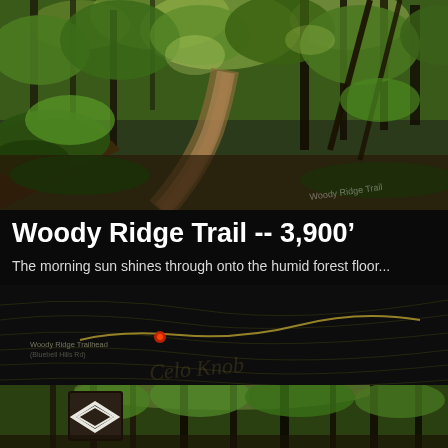[Figure (photo): Forest trail view looking up a dirt path surrounded by lush green trees and foliage with morning sunlight filtering through the canopy. Small watermark 'Woody Ridge Trail' visible in lower right.]
Woody Ridge Trail -- 3,900'
The morning sun shines through onto the humid forest floor...
[Figure (map): Dark topographic map showing Woody Ridge Trailhead marker with a red/orange dot, trail lines in yellow/gold, and cursive text overlay. Small label reads 'Woody Ridge Trailhead (Bluebell Hills Rd)'.]
[Figure (photo): Forest interior looking up at tall straight trees with green leafy canopy in summer. A dark trail marker sign with white chevron arrow is visible on a tree in the lower left.]